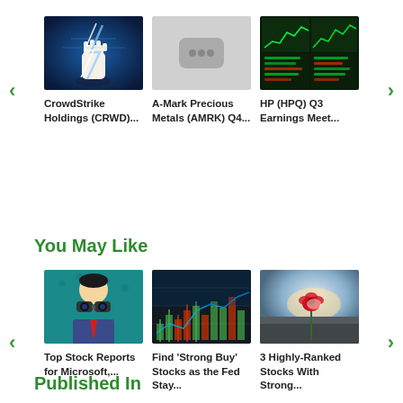[Figure (illustration): Top carousel with three article thumbnails: (1) CrowdStrike fist with lightning bolt, (2) YouTube-style placeholder, (3) Stock market charts on screen]
CrowdStrike Holdings (CRWD)...
A-Mark Precious Metals (AMRK) Q4...
HP (HPQ) Q3 Earnings Meet...
You May Like
[Figure (illustration): Bottom 'You May Like' carousel with three article thumbnails: (1) Man with binoculars (comic art), (2) Stock trading chart with candlesticks, (3) Red flower in desolate landscape]
Top Stock Reports for Microsoft,...
Find 'Strong Buy' Stocks as the Fed Stay...
3 Highly-Ranked Stocks With Strong...
Published In